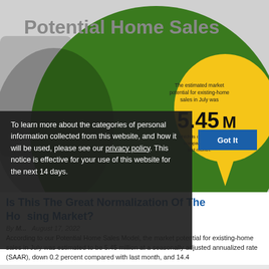[Figure (infographic): Potential Home Sales infographic showing a large green circle with a yellow speech-bubble callout. The callout reads: 'The estimated market potential for existing-home sales in July was 5.45M which is down 0.2% compared with last month.' Title text 'Potential Home Sales' appears in large gray letters at top.]
To learn more about the categories of personal information collected from this website, and how it will be used, please see our privacy policy. This notice is effective for your use of this website for the next 14 days.
Is This The Great Normalization Of The Housing Market?
By [author] | August 17, 2022
According to our Potential Home Sales Model, the market potential for existing-home sales in July was estimated to be 5.45 million at a seasonally adjusted annualized rate (SAAR), down 0.2 percent compared with last month, and 14.4...